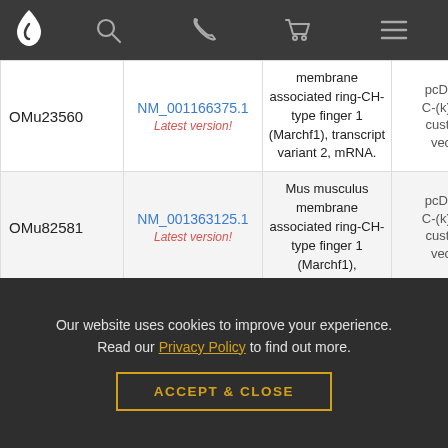Navigation bar with logo, search, phone, cart, and menu icons
| Product ID | Accession | Description | Vector |
| --- | --- | --- | --- |
| OMu23560 | NM_001166375.1 Latest version! | membrane associated ring-CH-type finger 1 (Marchf1), transcript variant 2, mRNA. | pcDNA C-(k)D custom vec... |
| OMu82581 | NM_001363125.1 Latest version! | Mus musculus membrane associated ring-CH-type finger 1 (Marchf1), | pcDNA C-(k)D custom vec... |
Our website uses cookies to improve your experience. Read our Privacy Policy to find out more.
ACCEPT & CLOSE